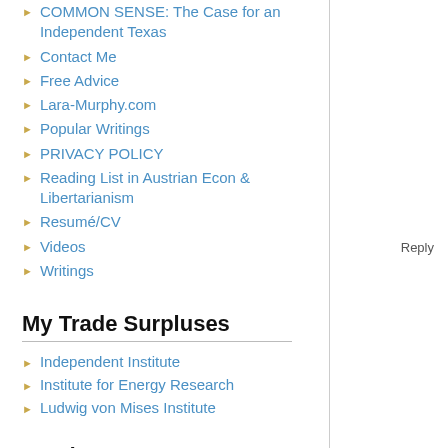COMMON SENSE: The Case for an Independent Texas
Contact Me
Free Advice
Lara-Murphy.com
Popular Writings
PRIVACY POLICY
Reading List in Austrian Econ & Libertarianism
Resumé/CV
Videos
Writings
Reply
My Trade Surpluses
Independent Institute
Institute for Energy Research
Ludwig von Mises Institute
Read at Your Own